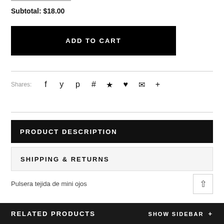Subtotal: $18.00
ADD TO CART
Shares:
PRODUCT DESCRIPTION
SHIPPING & RETURNS
Pulsera tejida de mini ojos
RELATED PRODUCTS
SHOW SIDEBAR +